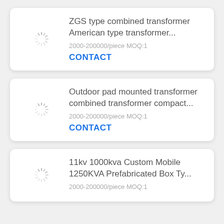[Figure (illustration): Loading spinner icon (gray dashed circle)]
ZGS type combined transformer American type transformer...
2000-200000/piece MOQ:1
CONTACT
[Figure (illustration): Loading spinner icon (gray dashed circle)]
Outdoor pad mounted transformer combined transformer compact...
2000-200000/piece MOQ:1
CONTACT
[Figure (illustration): Loading spinner icon (gray dashed circle)]
11kv 1000kva Custom Mobile 1250KVA Prefabricated Box Ty...
2000-200000/piece MOQ:1